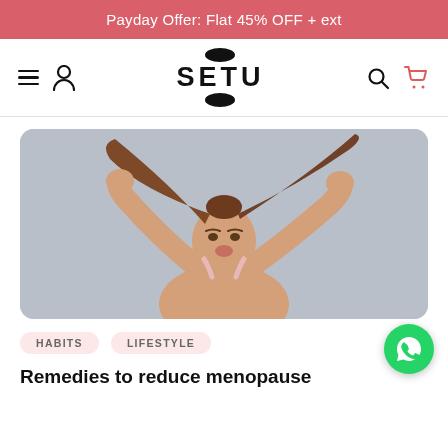Payday Offer: Flat 45% OFF + ext
[Figure (logo): SETU brand logo with oval shapes above and below the text]
[Figure (photo): Woman holding her long brown hair up over her head with both hands, making a pouty face, against a grey-blue background]
HABITS
LIFESTYLE
Remedies to reduce menopause